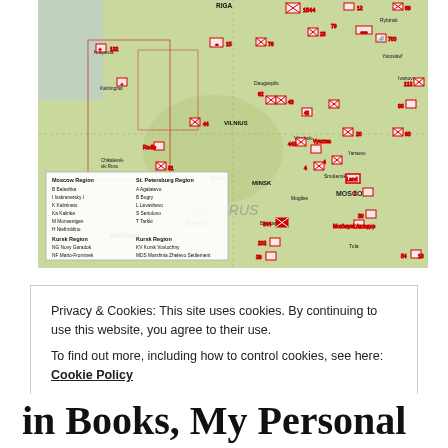[Figure (map): Military map of Eastern Europe and Western Russia showing WWII-era unit positions marked with red military symbols. Covers area from Warsaw/Baltic coast in the west to Saratov/Volgograd in the east, and from Riga in the north to Kharkiv/Dnipropetrovsk in the south. Cities labeled include Moscow, Minsk, Kiev, Kyiv, Smolensk, Bryansk, Kursk, Voronezh, Tula, and many others. Red squares with military unit symbols and numbers scattered across the map. Includes a legend box in the lower left showing Moscow Region, St. Petersburg Region, and Kursk Region unit abbreviations.]
Privacy & Cookies: This site uses cookies. By continuing to use this website, you agree to their use.
To find out more, including how to control cookies, see here: Cookie Policy
in Books, My Personal